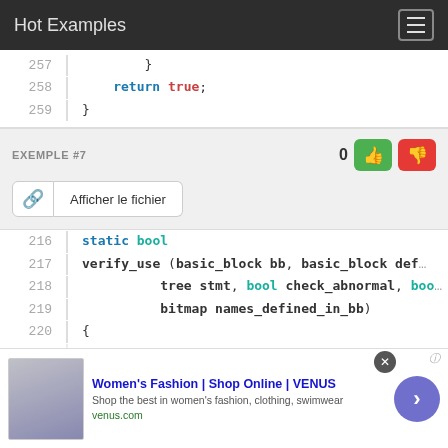Hot Examples
257    }
258        return true;
259    }
EXEMPLE #7
0
Afficher le fichier
216    static bool
217    verify_use (basic_block bb, basic_block def
218                tree stmt, bool check_abnormal, boo
219                bitmap names_defined_in_bb)
220    {
221        bool err = false;